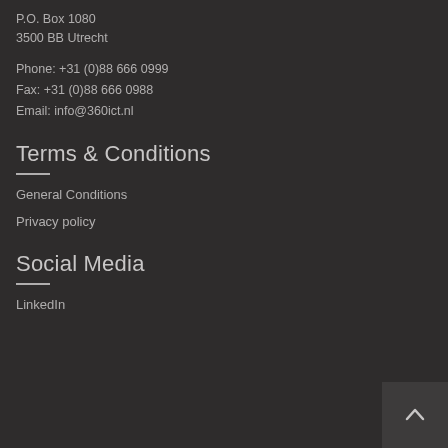P.O. Box 1080
3500 BB Utrecht
Phone: +31 (0)88 666 0999
Fax: +31 (0)88 666 0988
Email: info@360ict.nl
Terms & Conditions
General Conditions
Privacy policy
Social Media
LinkedIn